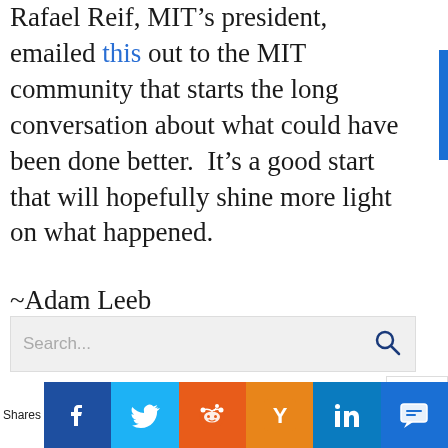Rafael Reif, MIT's president, emailed this out to the MIT community that starts the long conversation about what could have been done better. It's a good start that will hopefully shine more light on what happened.

~Adam Leeb
[Figure (screenshot): Search bar with magnifying glass icon]
[Figure (screenshot): Social share bar with Facebook, Twitter, Reddit, Hacker News, LinkedIn, and SMS buttons. 'Shares' label on left.]